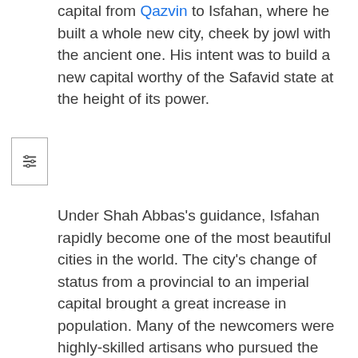capital from Qazvin to Isfahan, where he built a whole new city, cheek by jowl with the ancient one. His intent was to build a new capital worthy of the Safavid state at the height of its power.
Under Shah Abbas's guidance, Isfahan rapidly become one of the most beautiful cities in the world. The city's change of status from a provincial to an imperial capital brought a great increase in population. Many of the newcomers were highly-skilled artisans who pursued the necessary patronage.
[Figure (illustration): A dark historical painting depicting a formal court or ceremonial scene with ornate decorative background patterns and figures in traditional dress.]